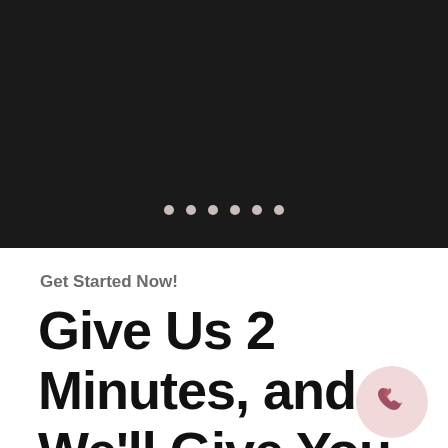[Figure (other): Dark black banner area with carousel pagination dots]
Get Started Now!
Give Us 2 Minutes, and We'll Give You